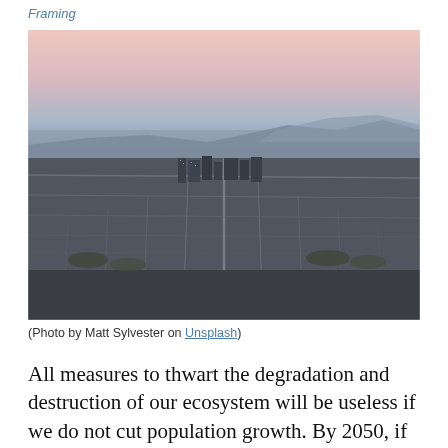Framing
[Figure (photo): Aerial cityscape photo showing a sprawling urban area at dusk with mountains in the background and a hazy sky. Buildings dense in the foreground transitioning to mountains in the distance.]
(Photo by Matt Sylvester on Unsplash)
All measures to thwart the degradation and destruction of our ecosystem will be useless if we do not cut population growth. By 2050, if we continue to